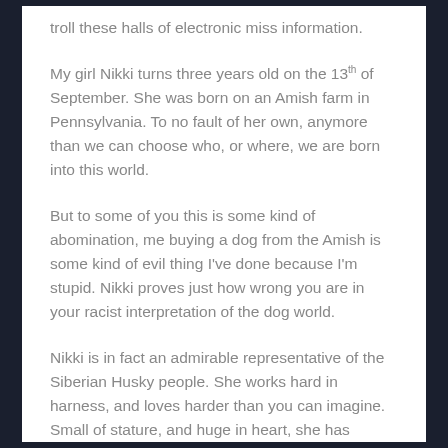troll these halls of electronic miss information.
My girl Nikki turns three years old on the 13th of September. She was born on an Amish farm in Pennsylvania. To no fault of her own, anymore than we can choose who, or where, we are born into this world.
But to some of you this is some kind of abomination, me buying a dog from the Amish is some kind of evil thing I've done because I'm stupid. Nikki proves just how wrong you are in your racist interpretation of the dog world.
Nikki is in fact an admirable representative of the Siberian Husky people. She works hard in harness, and loves harder than you can imagine. Small of stature, and huge in heart, she has proven over and over again what a great dog she is.
She doesn't care where she was born, she doesn't care what